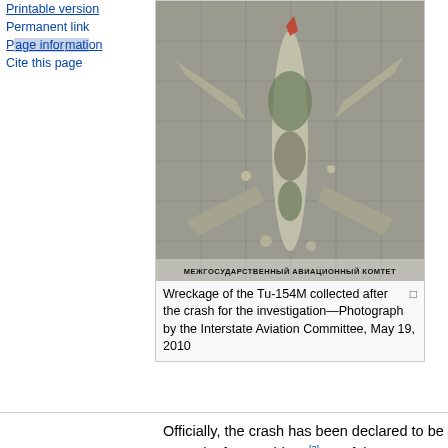Printable version
Permanent link
Page information
Cite this page
[Figure (photo): Wreckage of the Tu-154M aircraft collected on a concrete apron after the crash, viewed from above, showing the fuselage and wing debris spread out. Watermark reads МЕЖГОСУДАРСТВЕННЫЙ АВИАЦИОННЫЙ КОМТЕТ (Interstate Aviation Committee).]
Wreckage of the Tu-154M collected after the crash for the investigation—Photograph by the Interstate Aviation Committee, May 19, 2010
Officially, the crash has been declared to be a result of an accident.[3] As of the